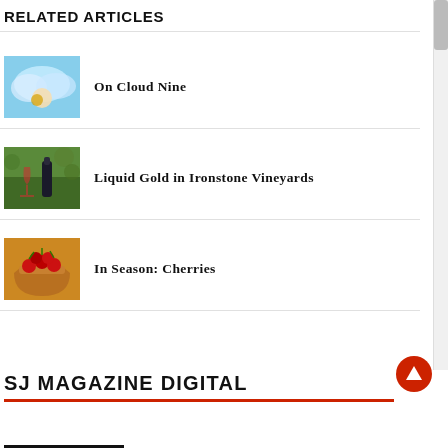RELATED ARTICLES
On Cloud Nine
Liquid Gold in Ironstone Vineyards
In Season: Cherries
SJ MAGAZINE DIGITAL